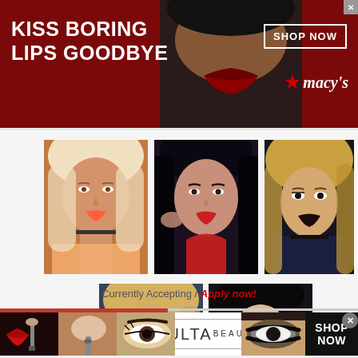[Figure (screenshot): Macy's advertisement banner: dark red background with white text 'KISS BORING LIPS GOODBYE', a woman's face with red lips in center, and 'SHOP NOW' button with Macy's star logo on right]
[Figure (photo): Grid of five fashion/beauty model photos arranged in two rows: three in top row (blonde woman, dark-haired woman, blonde woman with dark lipstick) and two in bottom row (blonde woman smiling, woman with flower)]
Currently Accepting / Apply now!
[Figure (screenshot): Ulta Beauty advertisement banner with makeup close-up photos (red lips with brush, powder brush, eye with eyebrow, smoky eye), Ulta Beauty logo in white panel, and 'SHOP NOW' text on right]